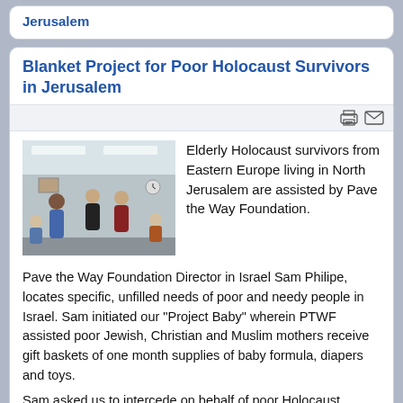Jerusalem
Blanket Project for Poor Holocaust Survivors in Jerusalem
[Figure (photo): People gathered in a room, some standing, some seated, in what appears to be an indoor community gathering or distribution event.]
Elderly Holocaust survivors from Eastern Europe living in North Jerusalem are assisted by Pave the Way Foundation.
Pave the Way Foundation Director in Israel Sam Philipe, locates specific, unfilled needs of poor and needy people in Israel. Sam initiated our "Project Baby" wherein PTWF assisted poor Jewish, Christian and Muslim mothers receive gift baskets of one month supplies of baby formula, diapers and toys.
Sam asked us to intercede on behalf of poor Holocaust